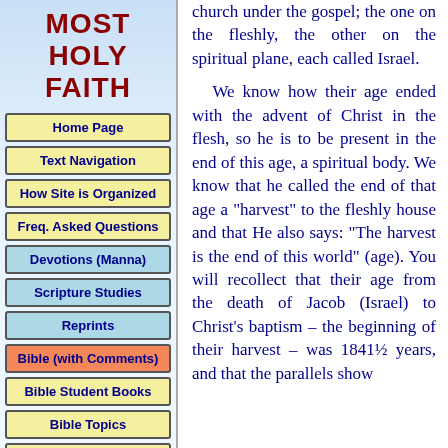MOST HOLY FAITH
Home Page
Text Navigation
How Site is Organized
Freq. Asked Questions
Devotions (Manna)
Scripture Studies
Reprints
Bible (with Comments)
Bible Student Books
Bible Topics
Expanded Bible Topics
Bible Student Webs
Miscellaneous
church under the gospel; the one on the fleshly, the other on the spiritual plane, each called Israel.
We know how their age ended with the advent of Christ in the flesh, so he is to be present in the end of this age, a spiritual body. We know that he called the end of that age a "harvest" to the fleshly house and that He also says: "The harvest is the end of this world" (age). You will recollect that their age from the death of Jacob (Israel) to Christ's baptism – the beginning of their harvest – was 1841½ years, and that the parallels show